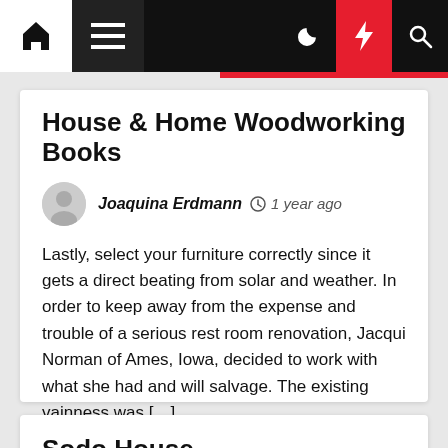Navigation bar with home, menu, dark mode, lightning/featured, and search icons
House & Home Woodworking Books
Joaquina Erdmann  ⊙ 1 year ago
Lastly, select your furniture correctly since it gets a direct beating from solar and weather. In order to keep away from the expense and trouble of a serious rest room renovation, Jacqui Norman of Ames, Iowa, decided to work with what she had and will salvage. The existing vainness was […]
Sodo House